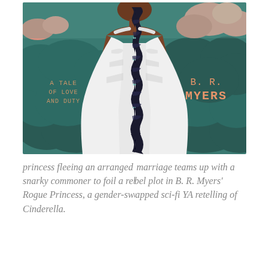[Figure (illustration): Book cover of 'Rogue Princess' by B. R. Myers. Shows the back of a woman in a white flowing gown with a long dark braided hair decorated with small stars. Background is a dark teal/green cloudy sky with pink clouds at the top. Text on cover reads 'A TALE OF LOVE AND DUTY' on the left and 'B. R. MYERS' on the right in salmon/peach colored text.]
princess fleeing an arranged marriage teams up with a snarky commoner to foil a rebel plot in B. R. Myers' Rogue Princess, a gender-swapped sci-fi YA retelling of Cinderella.